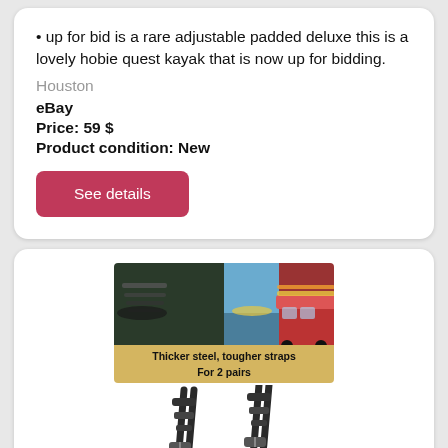• up for bid is a rare adjustable padded deluxe this is a lovely hobie quest kayak that is now up for bidding.
Houston
eBay
Price: 59 $
Product condition: New
See details
[Figure (photo): Collage photo of kayaks on car roof racks with text overlay 'Thicker steel, tougher straps For 2 pairs', and below it a photo of J-rack kayak car roof mounts.]